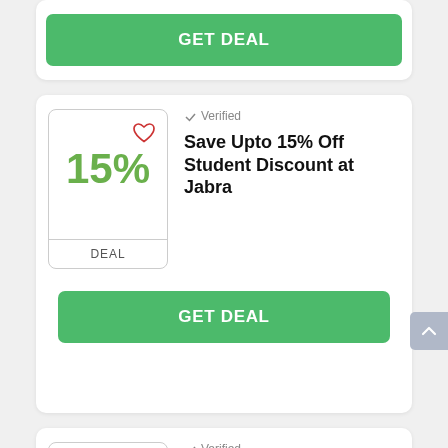GET DEAL
[Figure (other): Deal badge showing 15% discount with heart icon and DEAL label]
✓ Verified
Save Upto 15% Off Student Discount at Jabra
GET DEAL
[Figure (other): Deal badge showing 'Deal' text with heart icon]
✓ Verified
Enjoy Free UK Delivery When Spending Over £50 at Jabra